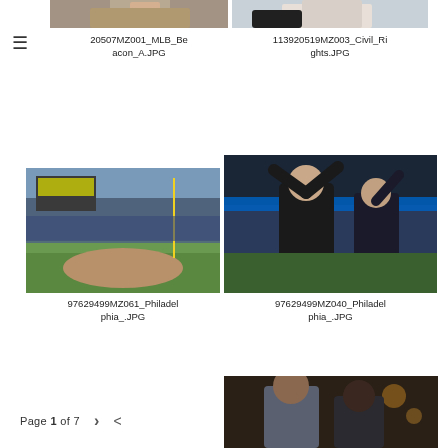[Figure (photo): Partial photo of person, cropped at top, top-left position]
[Figure (photo): Partial photo of baseball cleats/shoes, cropped at top, top-right position]
20507MZ001_MLB_Beacon_A.JPG
113920519MZ003_Civil_Rights.JPG
[Figure (photo): Baseball stadium/field photo - Philadelphia stadium with stands and field view]
[Figure (photo): Two men celebrating with arms raised at baseball game, wearing dark caps]
97629499MZ061_Philadelphia_.JPG
97629499MZ040_Philadelphia_.JPG
[Figure (photo): Partial photo of two people at an event, cropped at bottom-right]
Page 1 of 7